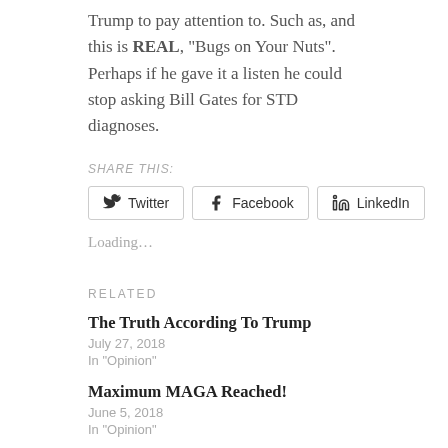Trump to pay attention to. Such as, and this is REAL, "Bugs on Your Nuts". Perhaps if he gave it a listen he could stop asking Bill Gates for STD diagnoses.
SHARE THIS:
Twitter  Facebook  LinkedIn
Loading…
RELATED
The Truth According To Trump
July 27, 2018
In "Opinion"
Maximum MAGA Reached!
June 5, 2018
In "Opinion"